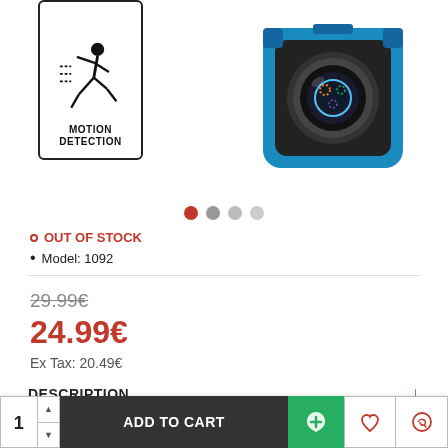[Figure (photo): Motion detection icon (person running with dashed lines inside a bordered rectangle labeled MOTION DETECTION) and a small blue/black action camera with lens visible]
OUT OF STOCK
Model: 1092
29.99€
24.99€
Ex Tax: 20.49€
DESCRIPTION
Exceptional resolution and rechargeable